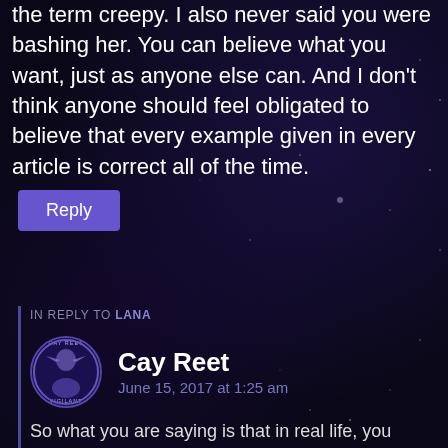the term creepy. I also never said you were bashing her. You can believe what you want, just as anyone else can. And I don't think anyone should feel obligated to believe that every example given in every article is correct all of the time.
Reply
IN REPLY TO LANA
Cay Reet
June 15, 2017 at 1:25 am
So what you are saying is that in real life, you wouldn't find it creepy if someone you know, but not especially like (or dislike) or only think of as a